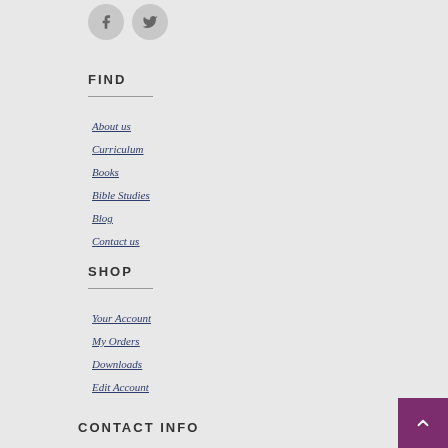[Figure (illustration): Social media icons: Facebook (f) and Twitter (bird) as circular grey buttons]
FIND
About us
Curriculum
Books
Bible Studies
Blog
Contact us
SHOP
Your Account
My Orders
Downloads
Edit Account
CONTACT INFO